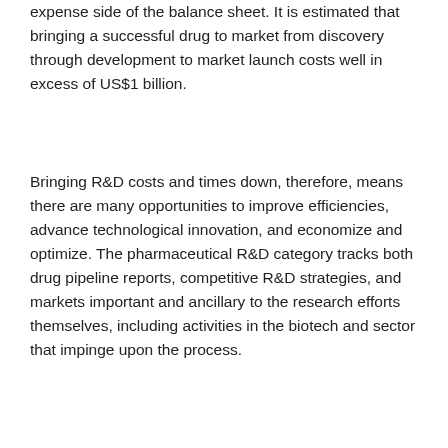expense side of the balance sheet. It is estimated that bringing a successful drug to market from discovery through development to market launch costs well in excess of US$1 billion.
Bringing R&D costs and times down, therefore, means there are many opportunities to improve efficiencies, advance technological innovation, and economize and optimize. The pharmaceutical R&D category tracks both drug pipeline reports, competitive R&D strategies, and markets important and ancillary to the research efforts themselves, including activities in the biotech and sector that impinge upon the process.